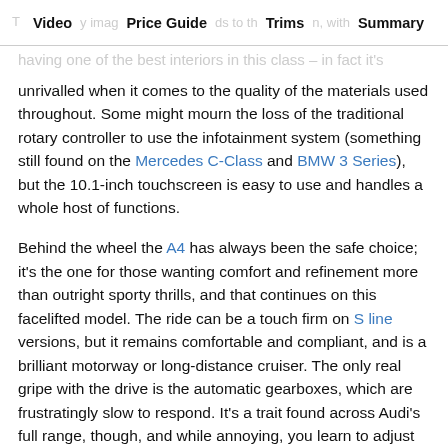Video | Price Guide | Trims | Summary
The Audi A4 by images and words to the cabin, with having one of the best interiors in this class – in fact it's
unrivalled when it comes to the quality of the materials used throughout. Some might mourn the loss of the traditional rotary controller to use the infotainment system (something still found on the Mercedes C-Class and BMW 3 Series), but the 10.1-inch touchscreen is easy to use and handles a whole host of functions.

Behind the wheel the A4 has always been the safe choice; it's the one for those wanting comfort and refinement more than outright sporty thrills, and that continues on this facelifted model. The ride can be a touch firm on S line versions, but it remains comfortable and compliant, and is a brilliant motorway or long-distance cruiser. The only real gripe with the drive is the automatic gearboxes, which are frustratingly slow to respond. It's a trait found across Audi's full range, though, and while annoying, you learn to adjust the in-built delay in the transmission.